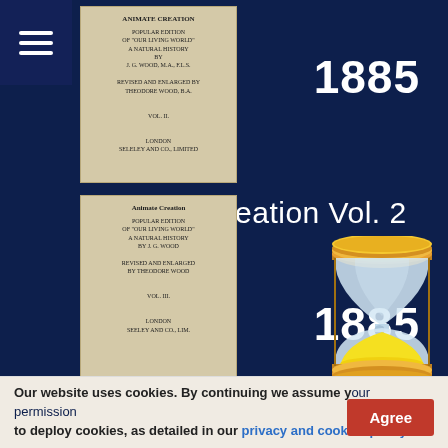[Figure (screenshot): Navigation menu hamburger icon (three horizontal white lines) on dark navy blue background square]
[Figure (photo): Thumbnail image of an old book cover - Animate Creation Vol. 2, beige/tan colored]
1885
Animate Creation Vol. 2
[Figure (photo): Thumbnail image of an old book cover - Animate Creation Vol. 3, beige/tan colored, titled Animate Creation]
1885
Animate Creation Vol. 3
[Figure (photo): Partial thumbnail of another old book, tan/yellow cover, partially visible at bottom]
[Figure (illustration): Hourglass illustration with gold/brown top and bottom, glass middle section containing yellow sand]
Our website uses cookies. By continuing we assume your permission to deploy cookies, as detailed in our privacy and cookies policy.